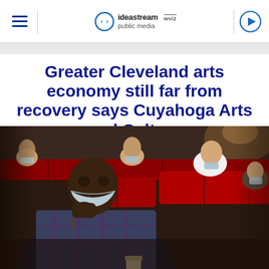ideastream public media | wviz
Greater Cleveland arts economy still far from recovery says Cuyahoga Arts and Culture
[Figure (photo): People wearing face masks seated in red theater/cinema seats, watching a performance. The foreground shows a Black man in a plaid shirt with his mask pulled slightly down, resting his chin on his hand. Behind him are several other masked audience members in red cushioned seats.]